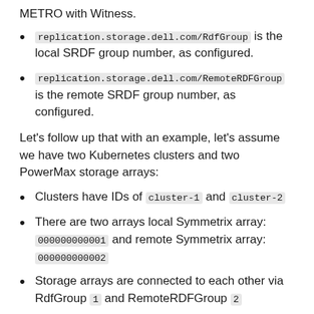METRO with Witness.
replication.storage.dell.com/RdfGroup is the local SRDF group number, as configured.
replication.storage.dell.com/RemoteRDFGroup is the remote SRDF group number, as configured.
Let's follow up that with an example, let's assume we have two Kubernetes clusters and two PowerMax storage arrays:
Clusters have IDs of cluster-1 and cluster-2
There are two arrays local Symmetrix array: 000000000001 and remote Symmetrix array: 000000000002
Storage arrays are connected to each other via RdfGroup 1 and RemoteRDFGroup 2
Cluster cluster-1 connected to array 000000000001